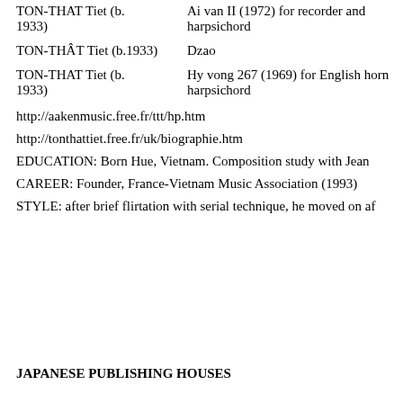TON-THAT Tiet (b. 1933)  Ai van II (1972) for recorder and harpsichord
TON-THÂT Tiet (b.1933)  Dzao
TON-THAT Tiet (b. 1933)  Hy vong 267 (1969) for English horn harpsichord
http://aakenmusic.free.fr/ttt/hp.htm
http://tonthattiet.free.fr/uk/biographie.htm
EDUCATION: Born Hue, Vietnam. Composition study with Jean
CAREER: Founder, France-Vietnam Music Association (1993)
STYLE: after brief flirtation with serial technique, he moved on af
JAPANESE PUBLISHING HOUSES